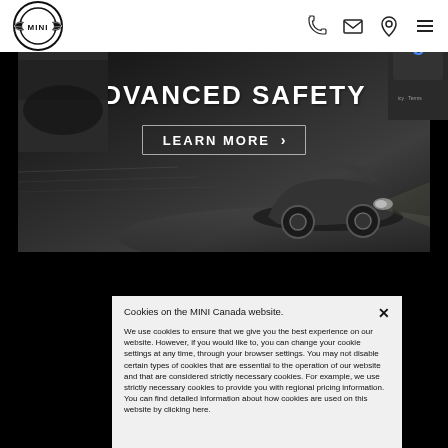MINI Canada website header with logo and navigation icons (phone, email, location, menu)
[Figure (photo): Dark dramatic photo of a MINI car with the text ADVANCED SAFETY overlaid in large white bold uppercase letters, with a LEARN MORE button below]
Cookies on the MINI Canada website.
We use cookies to ensure that we give you the best experience on our website. However, if you would like to, you can change your cookie settings at any time, through your browser settings. You may not disable certain types of cookies that are essential to the operation of our website and that are considered strictly necessary cookies. For example, we use strictly necessary cookies to provide you with regional pricing information. You can find detailed information about how cookies are used on this website by clicking here.